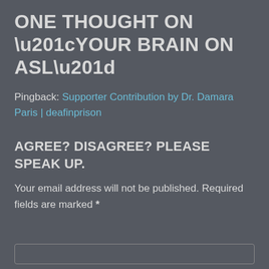ONE THOUGHT ON “YOUR BRAIN ON ASL”
Pingback: Supporter Contribution by Dr. Damara Paris | deafinprison
AGREE? DISAGREE? PLEASE SPEAK UP.
Your email address will not be published. Required fields are marked *